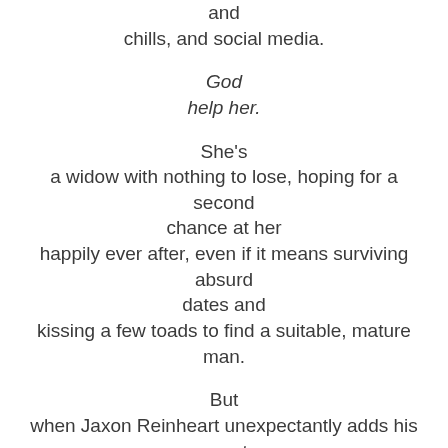and chills, and social media.
God
help her.
She's
a widow with nothing to lose, hoping for a second chance at her
happily ever after, even if it means surviving absurd dates and
kissing a few toads to find a suitable, mature man.
But
when Jaxon Reinheart unexpectantly adds his name to her dance card,
Rhonda throws caution to the wind. The much younger, single dad,
plans to show her that love and chivalry are alive and well...